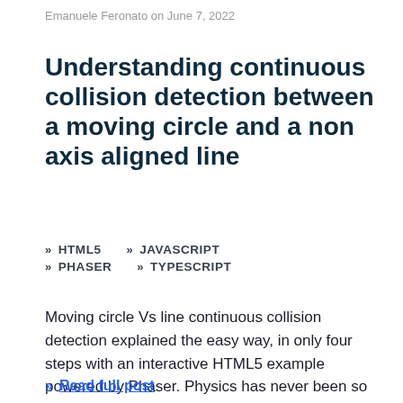Emanuele Feronato on June 7, 2022
Understanding continuous collision detection between a moving circle and a non axis aligned line
» HTML5   » JAVASCRIPT
» PHASER   » TYPESCRIPT
Moving circle Vs line continuous collision detection explained the easy way, in only four steps with an interactive HTML5 example powered by Phaser. Physics has never been so much easy.
» Read full post